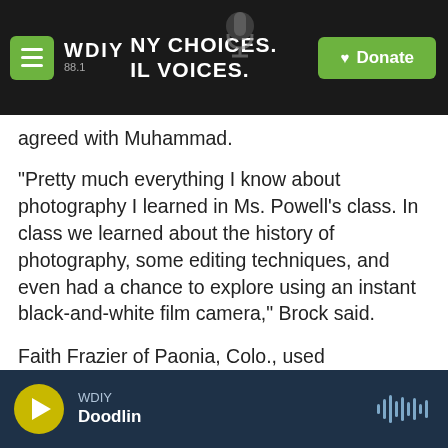[Figure (screenshot): WDIY 88.1 radio station navigation bar with hamburger menu, logo, tagline 'NY CHOICES. IL VOICES.', and green Donate button]
agreed with Muhammad.
"Pretty much everything I know about photography I learned in Ms. Powell's class. In class we learned about the history of photography, some editing techniques, and even had a chance to explore using an instant black-and-white film camera," Brock said.
Faith Frazier of Paonia, Colo., used photography to see deeper into her community.
"While our county was on stay-at-home order, everything felt off. I remember driving down Grand
[Figure (screenshot): Audio player bar showing WDIY station with 'Doodlin' track, green play button, and waveform icon]